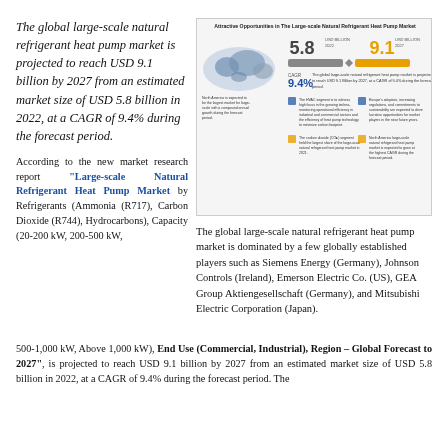The global large-scale natural refrigerant heat pump market is projected to reach USD 9.1 billion by 2027 from an estimated market size of USD 5.8 billion in 2022, at a CAGR of 9.4% during the forecast period.
[Figure (infographic): Attractive Opportunities in The Large-scale Natural Refrigerant Heat Pump Market infographic showing market size of 5.8 USD billion in 2022 growing to 9.1 USD billion in 2027 at a CAGR of 9.4%, with bullet points about North America, HVAC, Europe, and North America natural refrigerant heat pump market details.]
According to the new market research report "Large-scale Natural Refrigerant Heat Pump Market by Refrigerants (Ammonia (R717), Carbon Dioxide (R744), Hydrocarbons), Capacity (20-200 kW, 200-500 kW, 500-1,000 kW, Above 1,000 kW), End Use (Commercial, Industrial), Region – Global Forecast to 2027", is projected to reach USD 9.1 billion by 2027 from an estimated market size of USD 5.8 billion in 2022, at a CAGR of 9.4% during the forecast period. The
The global large-scale natural refrigerant heat pump market is dominated by a few globally established players such as Siemens Energy (Germany), Johnson Controls (Ireland), Emerson Electric Co. (US), GEA Group Aktiengesellschaft (Germany), and Mitsubishi Electric Corporation (Japan).